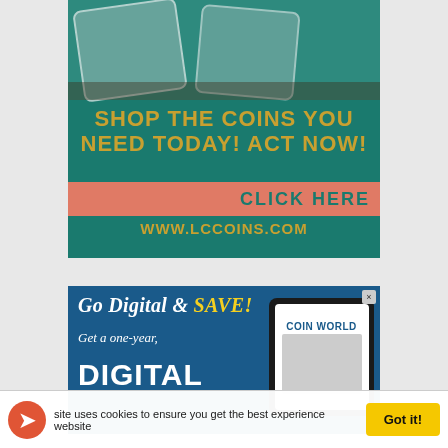[Figure (illustration): Advertisement banner for LCCoins.com showing two graded coin slabs on teal background with text 'SHOP THE COINS YOU NEED TODAY! ACT NOW!' in gold, a salmon/coral click-here bar, and URL www.lccoins.com]
[Figure (illustration): Advertisement for Coin World digital subscription: 'Go Digital & SAVE! Get a one-year, DIGITAL' subscription with tablet device showing Coin World magazine cover]
site uses cookies to ensure you get the best experience website